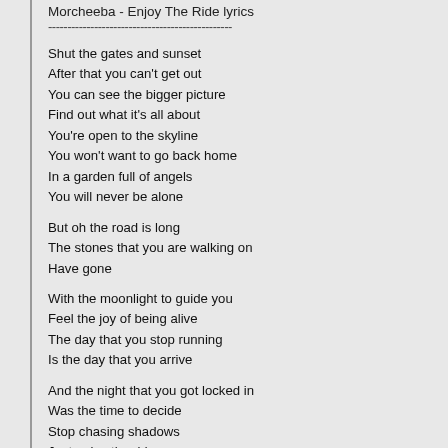Morcheeba - Enjoy The Ride lyrics
------------------------------------------------
Shut the gates and sunset
After that you can't get out
You can see the bigger picture
Find out what it's all about
You're open to the skyline
You won't want to go back home
In a garden full of angels
You will never be alone
But oh the road is long
The stones that you are walking on
Have gone
With the moonlight to guide you
Feel the joy of being alive
The day that you stop running
Is the day that you arrive
And the night that you got locked in
Was the time to decide
Stop chasing shadows
Just enjoy the ride